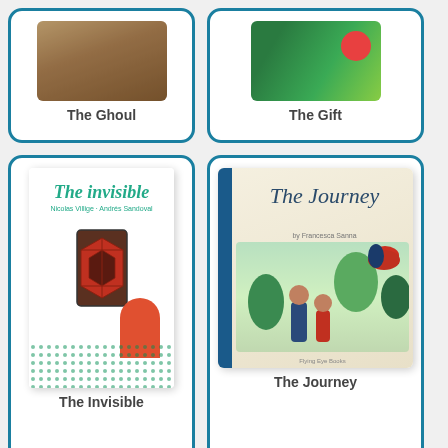[Figure (illustration): Book cover card for 'The Ghoul' with brown/tan cover image, blue border card]
The Ghoul
[Figure (illustration): Book cover card for 'The Gift' with green cover image, blue border card]
The Gift
[Figure (illustration): Book cover card for 'The Invisible' by Nicolas Willige and Andrés Sandoval, showing green and red abstract cover with door symbol and figure]
The Invisible
[Figure (illustration): Book cover card for 'The Journey' by Francesca Sanna, showing illustrated cover with birds and figures among plants]
The Journey
[Figure (illustration): Partial book cover card for 'The little ...' with beige/cream cover, partially visible at bottom]
[Figure (illustration): Partial book cover card with yellow cover, text partially visible at bottom]